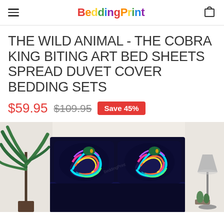BeddingPrint
THE WILD ANIMAL - THE COBRA KING BITING ART BED SHEETS SPREAD DUVET COVER BEDDING SETS
$59.95 $109.95 Save 45%
[Figure (photo): Product photo showing cobra king bedding set with two dark blue pillowcases featuring colorful cobra artwork, displayed on a bed with a palm plant on the left and a lamp on the right side]